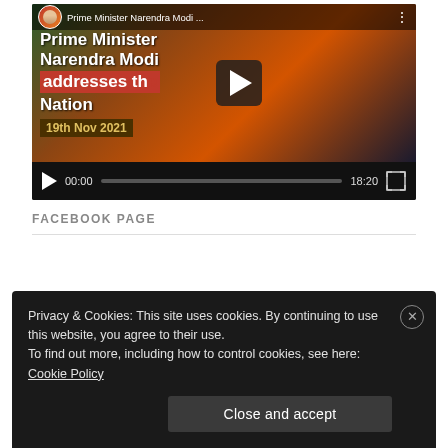[Figure (screenshot): YouTube video player showing Prime Minister Narendra Modi addresses the Nation, 19th Nov 2021, with play button, 00:00 timestamp and 18:20 total duration]
FACEBOOK PAGE
Privacy & Cookies: This site uses cookies. By continuing to use this website, you agree to their use. To find out more, including how to control cookies, see here: Cookie Policy
Close and accept